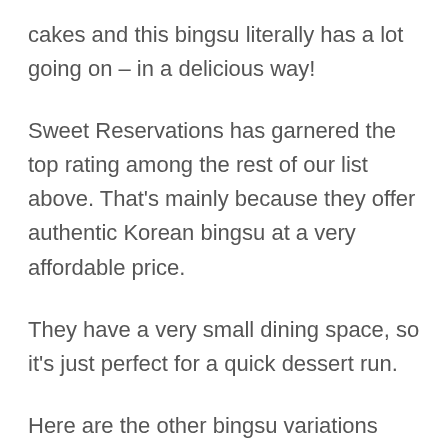cakes and this bingsu literally has a lot going on – in a delicious way!
Sweet Reservations has garnered the top rating among the rest of our list above. That's mainly because they offer authentic Korean bingsu at a very affordable price.
They have a very small dining space, so it's just perfect for a quick dessert run.
Here are the other bingsu variations that you can order from Sweet Reservations: